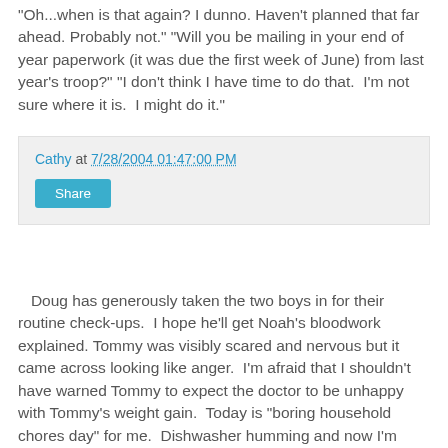"Oh...when is that again? I dunno. Haven't planned that far ahead. Probably not." "Will you be mailing in your end of year paperwork (it was due the first week of June) from last year's troop?" "I don't think I have time to do that. I'm not sure where it is. I might do it."
Cathy at 7/28/2004 01:47:00 PM
Share
Doug has generously taken the two boys in for their routine check-ups. I hope he'll get Noah's bloodwork explained. Tommy was visibly scared and nervous but it came across looking like anger. I'm afraid that I shouldn't have warned Tommy to expect the doctor to be unhappy with Tommy's weight gain. Today is "boring household chores day" for me. Dishwasher humming and now I'm going to move clothes from the washer to the dryer. I'm very disappointed that I still haven't gotten Noah's headboard